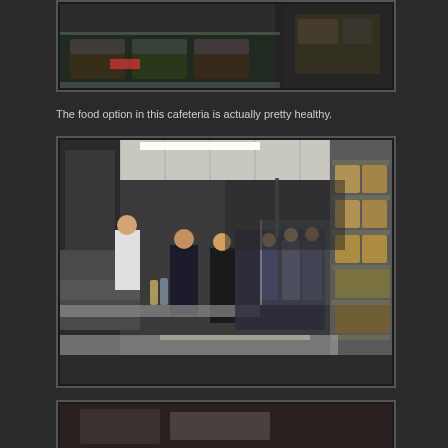[Figure (photo): Photo of cafeteria food display case with packaged meals under a glass counter, and food items visible on the right side]
The food option in this cafeteria is actually pretty healthy.
[Figure (photo): Interior of a cafeteria kitchen with staff working behind a long counter, serving area with shelves of food items on the right, stainless steel equipment, and fluorescent ceiling lights]
[Figure (photo): Partially visible cafeteria scene at the bottom of the page]